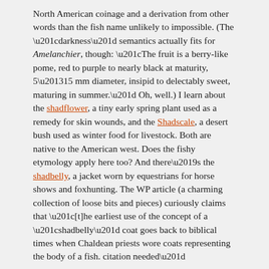North American coinage and a derivation from other words than the fish name unlikely to impossible. (The “darkness” semantics actually fits for Amelanchier, though: “The fruit is a berry-like pome, red to purple to nearly black at maturity, 5–15 mm diameter, insipid to delectably sweet, maturing in summer.” Oh, well.) I learn about the shadflower, a tiny early spring plant used as a remedy for skin wounds, and the Shadscale, a desert bush used as winter food for livestock. Both are native to the American west. Does the fishy etymology apply here too? And there’s the shadbelly, a jacket worn by equestrians for horse shows and foxhunting. The WP article (a charming collection of loose bits and pieces) curiously claims that “[t]he earliest use of the concept of a “shadbelly” coat goes back to biblical times when Chaldean priests wore coats representing the body of a fish. citation needed”